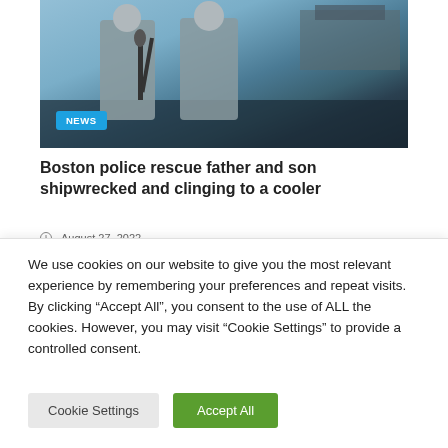[Figure (photo): Two uniformed officers standing at a press conference with microphones, boat visible in background]
Boston police rescue father and son shipwrecked and clinging to a cooler
August 27, 2022
[Figure (photo): Partial second article image - trees and dark structures visible]
We use cookies on our website to give you the most relevant experience by remembering your preferences and repeat visits. By clicking “Accept All”, you consent to the use of ALL the cookies. However, you may visit "Cookie Settings" to provide a controlled consent.